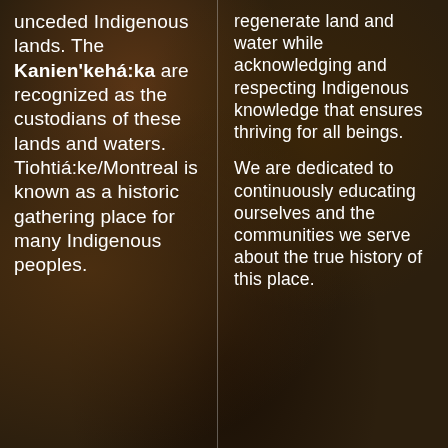unceded Indigenous lands. The Kanien'kehá:ka are recognized as the custodians of these lands and waters. Tiohtiá:ke/Montreal is known as a historic gathering place for many Indigenous peoples.
regenerate land and water while acknowledging and respecting Indigenous knowledge that ensures thriving for all beings.
We are dedicated to continuously educating ourselves and the communities we serve about the true history of this place.